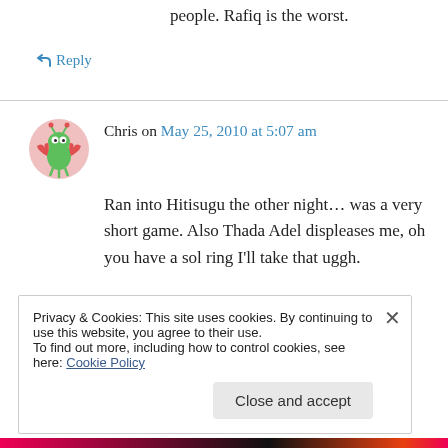people. Rafiq is the worst.
↳ Reply
Chris on May 25, 2010 at 5:07 am
[Figure (illustration): Avatar image of a cartoon green alien/monster character with crab claws, on a pink circular background]
Ran into Hitisugu the other night… was a very short game. Also Thada Adel displeases me, oh you have a sol ring I'll take that uggh.
↳ Reply
Privacy & Cookies: This site uses cookies. By continuing to use this website, you agree to their use.
To find out more, including how to control cookies, see here: Cookie Policy
Close and accept